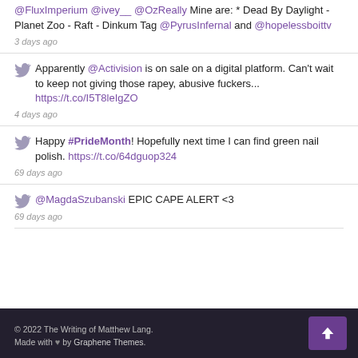@FluxImperium @ivey__ @OzReally Mine are: * Dead By Daylight - Planet Zoo - Raft - Dinkum Tag @PyrusInfernal and @hopelessboittv
3 days ago
Apparently @Activision is on sale on a digital platform. Can't wait to keep not giving those rapey, abusive fuckers... https://t.co/I5T8leIgZO
4 days ago
Happy #PrideMonth! Hopefully next time I can find green nail polish. https://t.co/64dguop324
69 days ago
@MagdaSzubanski EPIC CAPE ALERT <3
69 days ago
© 2022 The Writing of Matthew Lang. Made with ♥ by Graphene Themes.